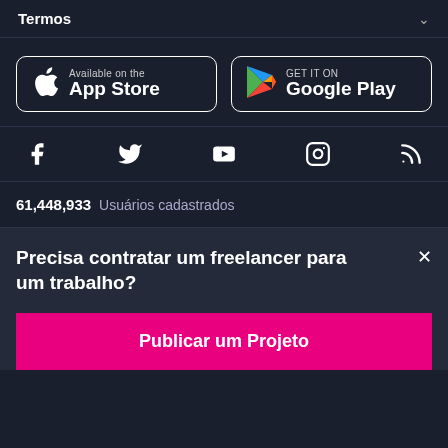Termos
[Figure (logo): App Store button (Apple logo, 'Available on the App Store')]
[Figure (logo): Google Play button (Play logo, 'GET IT ON Google Play')]
[Figure (infographic): Social media icons row: Facebook, Twitter, YouTube, Instagram, RSS]
61,448,933 Usuários cadastrados
Precisa contratar um freelancer para um trabalho?
Publicar um Projeto